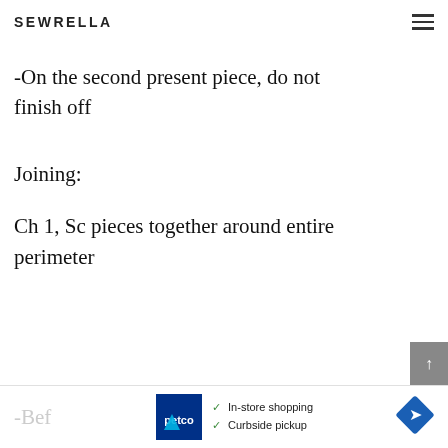SEWRELLA
-On the second present piece, do not finish off
Joining:
Ch 1, Sc pieces together around entire perimeter
-Bef...uff